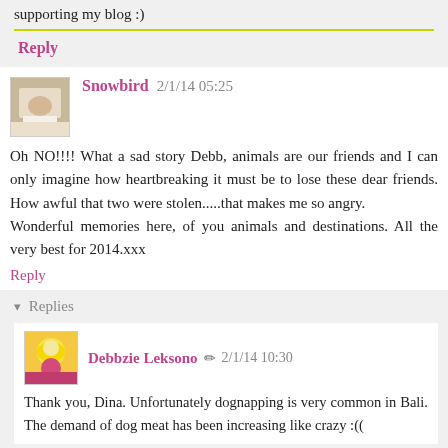supporting my blog :)
Reply
Snowbird 2/1/14 05:25
Oh NO!!!! What a sad story Debb, animals are our friends and I can only imagine how heartbreaking it must be to lose these dear friends. How awful that two were stolen.....that makes me so angry.
Wonderful memories here, of you animals and destinations. All the very best for 2014.xxx
Reply
▾ Replies
Debbzie Leksono 2/1/14 10:30
Thank you, Dina. Unfortunately dognapping is very common in Bali. The demand of dog meat has been increasing like crazy :((